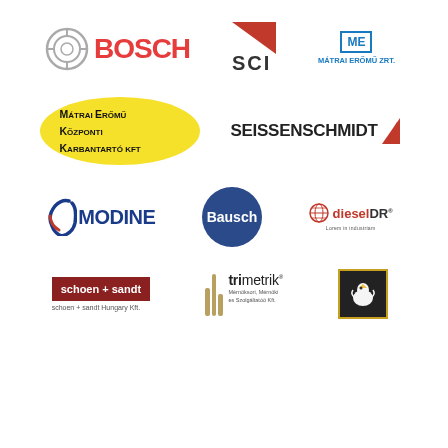[Figure (logo): Bosch logo: circular ring emblem with 'BOSCH' text in red]
[Figure (logo): SCI logo: red triangle with SCI text]
[Figure (logo): Mátrai Erőmű ZRT. logo in blue]
[Figure (logo): Mátrai Erőmű Központi Karbantartó KFT logo: yellow oval with text]
[Figure (logo): Seissenschmidt logo in dark text with red stripe]
[Figure (logo): Modine logo in blue with swoosh]
[Figure (logo): Bausch logo: dark blue circle with white text]
[Figure (logo): dieselDR logo with globe icon]
[Figure (logo): schoen + sandt logo in dark red box]
[Figure (logo): trimetrik logo with icon]
[Figure (logo): Bird logo in dark box with yellow border]